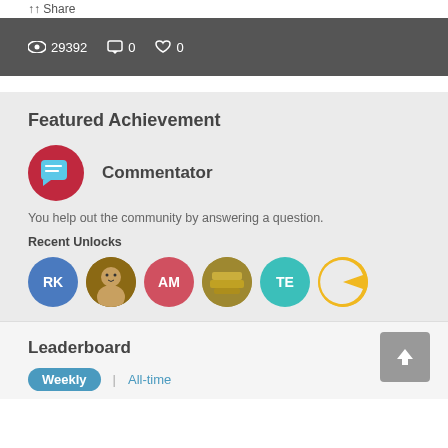Share
29392  0  0
Featured Achievement
[Figure (illustration): Red circle badge with a blue speech bubble chat icon representing the Commentator achievement]
Commentator
You help out the community by answering a question.
Recent Unlocks
[Figure (illustration): Row of six avatar circles: RK (blue), photo of person, AM (red/salmon), photo of stack of items, TE (teal), yellow pac-man style icon]
Leaderboard
Weekly | All-time